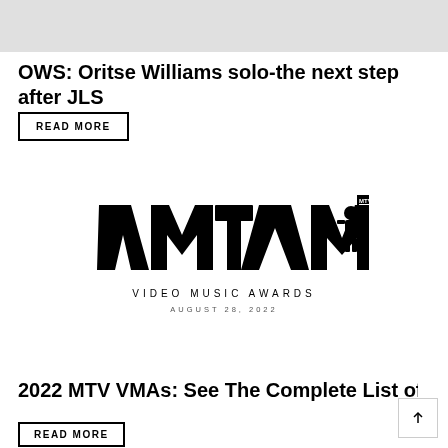[Figure (other): Gray banner/header bar at top of page]
OWS: Oritse Williams solo-the next step after JLS
READ MORE
[Figure (logo): MTV VMAs Logo - VMA style logo with astronaut figure, text reads VIDEO MUSIC AWARDS, AUGUST 28, 2022]
2022 MTV VMAs: See The Complete List of Winn